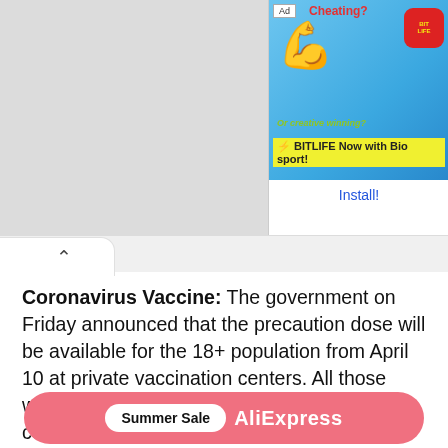[Figure (screenshot): Screenshot of a mobile browser showing a BitLife advertisement banner at the top with 'Cheating? Or creative winning?' text and a flexed arm emoji, plus a red BitLife app icon with 'Install!' link.]
Coronavirus Vaccine: The government on Friday announced that the precaution dose will be available for the 18+ population from April 10 at private vaccination centers. All those who are above 18 years of age and have completed 9 months after taking the second dose will be eligible for the precautionary dose. This facility will be available in all private vaccination centers.
[Figure (screenshot): AliExpress Summer Sale advertisement banner with pink/red background showing 'Summer Sale' button and 'AliExpress' text in white.]